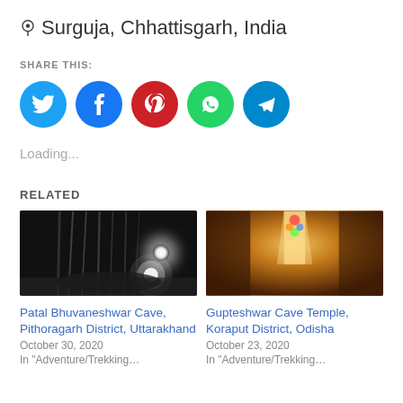📍 Surguja, Chhattisgarh, India
SHARE THIS:
[Figure (infographic): Five social media share buttons: Twitter (blue), Facebook (dark blue), Pinterest (red), WhatsApp (green), Telegram (blue)]
Loading...
RELATED
[Figure (photo): Dark cave interior with stalactites and a light orb — Patal Bhuvaneshwar Cave]
[Figure (photo): Cave temple interior with a glowing shrine column — Gupteshwar Cave Temple]
Patal Bhuvaneshwar Cave, Pithoragarh District, Uttarakhand
October 30, 2020
In "Adventure/Trekking…
Gupteshwar Cave Temple, Koraput District, Odisha
October 23, 2020
In "Adventure/Trekking…